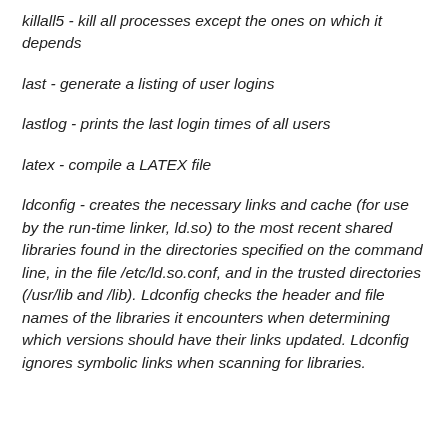killall5 - kill all processes except the ones on which it depends
last - generate a listing of user logins
lastlog - prints the last login times of all users
latex - compile a LATEX file
ldconfig - creates the necessary links and cache (for use by the run-time linker, ld.so) to the most recent shared libraries found in the directories specified on the command line, in the file /etc/ld.so.conf, and in the trusted directories (/usr/lib and /lib). Ldconfig checks the header and file names of the libraries it encounters when determining which versions should have their links updated. Ldconfig ignores symbolic links when scanning for libraries.